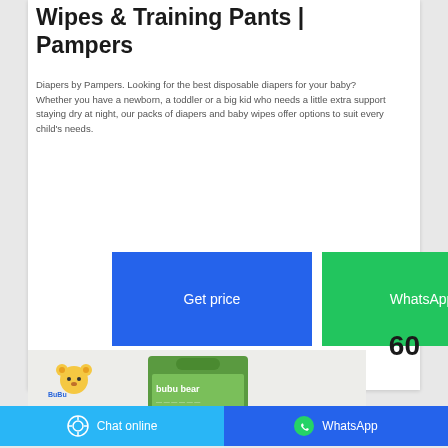Wipes & Training Pants | Pampers
Diapers by Pampers. Looking for the best disposable diapers for your baby? Whether you have a newborn, a toddler or a big kid who needs a little extra support staying dry at night, our packs of diapers and baby wipes offer options to suit every child's needs.
[Figure (screenshot): Two call-to-action buttons: 'Get price' in blue and 'WhatsApp' in green]
60
[Figure (photo): Product image showing bubu bear branded diaper package in green packaging on a light gray background]
Chat online   WhatsApp